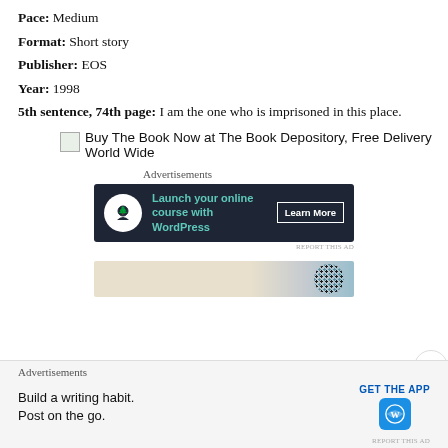Dates read: 15th February 2020
Pace: Medium
Format: Short story
Publisher: EOS
Year: 1998
5th sentence, 74th page: I am the one who is imprisoned in this place.
[Figure (other): Buy The Book Now at The Book Depository, Free Delivery World Wide link with small image icon]
Advertisements
[Figure (other): Dark advertisement banner: Launch your online course with WordPress - Learn More button]
REPORT THIS AD
[Figure (other): Partial image strip advertisement with decorative dots pattern]
Advertisements
Build a writing habit. Post on the go. GET THE APP [WordPress icon]
REPORT THIS AD